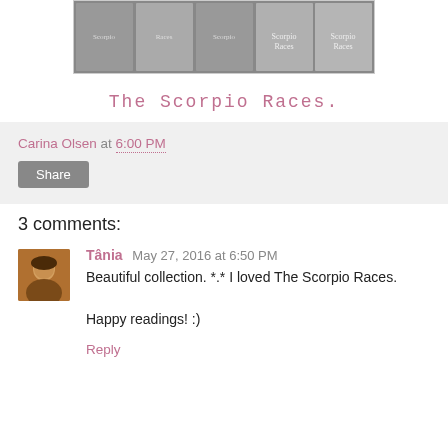[Figure (photo): Row of book covers for The Scorpio Races displayed in a row, dark/grey tones]
The Scorpio Races.
Carina Olsen at 6:00 PM
Share
3 comments:
Tânia May 27, 2016 at 6:50 PM
Beautiful collection. *.* I loved The Scorpio Races.

Happy readings! :)
Reply